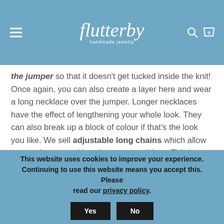Flutterby handmade jewelry
the jumper so that it doesn't get tucked inside the knit! Once again, you can also create a layer here and wear a long necklace over the jumper. Longer necklaces have the effect of lengthening your whole look. They can also break up a block of colour if that's the look you like. We sell adjustable long chains which allow you to shorten and lengthen your necklace. This is great as what is the right length for one of us might be too long or short for someone else!
[Figure (photo): Close-up photo of a blonde woman's face/neck area, partially visible]
This website uses cookies to improve your experience. Continuing to use this website means you accept this. Please read our privacy policy. Yes No